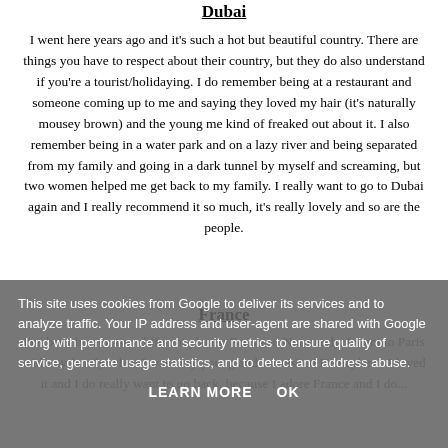Dubai
I went here years ago and it's such a hot but beautiful country. There are things you have to respect about their country, but they do also understand if you're a tourist/holidaying. I do remember being at a restaurant and someone coming up to me and saying they loved my hair (it's naturally mousey brown) and the young me kind of freaked out about it. I also remember being in a water park and on a lazy river and being separated from my family and going in a dark tunnel by myself and screaming, but two women helped me get back to my family. I really want to go to Dubai again and I really recommend it so much, it's really lovely and so are the people.
France
I've been here in two different places: Paris and Normandy. I went to Paris with my family when I was very young and we visited Disneyland. I loved it and I do really want to go back, because I adore France and I do...
This site uses cookies from Google to deliver its services and to analyze traffic. Your IP address and user-agent are shared with Google along with performance and security metrics to ensure quality of service, generate usage statistics, and to detect and address abuse. LEARN MORE OK